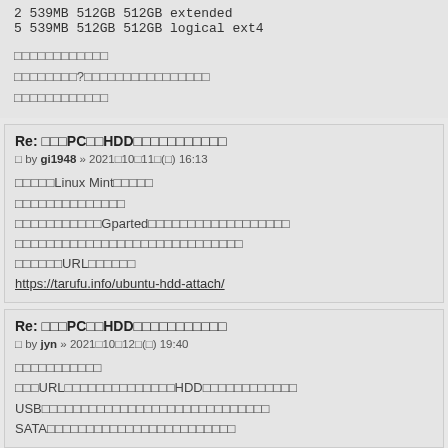2 539MB 512GB 512GB extended
5 539MB 512GB 512GB logical ext4
□□□□□□□□□□□□
□□□□□□□□?□□□□□□□□□□□□□□□□
□□□□□□□□□□□□
Re: □□□PC□□HDD□□□□□□□□□□□
□ by gi1948 » 2021□10□11□(□) 16:13
□□□□□Linux Mint□□□□□
□□□□□□□□□□□□□□
□□□□□□□□□□□Gparted□□□□□□□□□□□□□□□□□□
□□□□□□□□□□□□□□□□□□□□□□□□□□□□□
□□□□□□URL□□□□□□
https://tarufu.info/ubuntu-hdd-attach/
Re: □□□PC□□HDD□□□□□□□□□□□
□ by jyn » 2021□10□12□(□) 19:40
□□□□□□□□□□□
□□□URL□□□□□□□□□□□□□□HDD□□□□□□□□□□□□
USB□□□□□□□□□□□□□□□□□□□□□□□□□□□□□
SATA□□□□□□□□□□□□□□□□□□□□□□□□